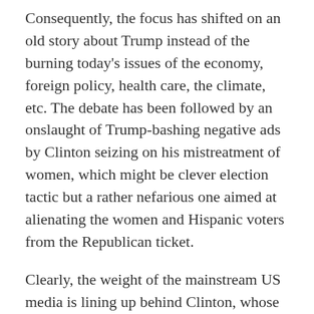Consequently, the focus has shifted on an old story about Trump instead of the burning today's issues of the economy, foreign policy, health care, the climate, etc. The debate has been followed by an onslaught of Trump-bashing negative ads by Clinton seizing on his mistreatment of women, which might be clever election tactic but a rather nefarious one aimed at alienating the women and Hispanic voters from the Republican ticket.
Clearly, the weight of the mainstream US media is lining up behind Clinton, whose recent physical collapse on September 11 was also downplayed by the likes of CNN, in order to dump down on Trump and thus lessen his chances of winning the November elections. This is due to a combination of factors, one which is the fact that Trump is still